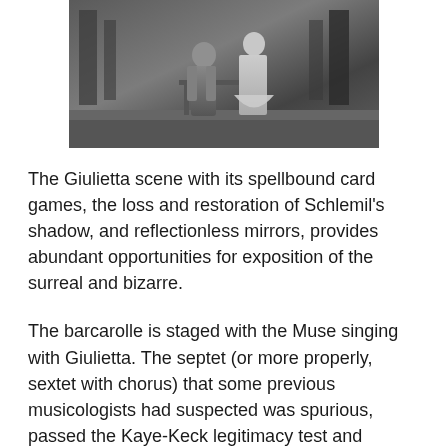[Figure (photo): Black and white stage photograph showing two performers — one in a grey outfit and one in a white/cream dress — standing near a table or furniture piece on a theatrical stage.]
The Giulietta scene with its spellbound card games, the loss and restoration of Schlemil's shadow, and reflectionless mirrors, provides abundant opportunities for exposition of the surreal and bizarre.
The barcarolle is staged with the Muse singing with Giulietta. The septet (or more properly, sextet with chorus) that some previous musicologists had suspected was spurious, passed the Kaye-Keck legitimacy test and remains in a performed...